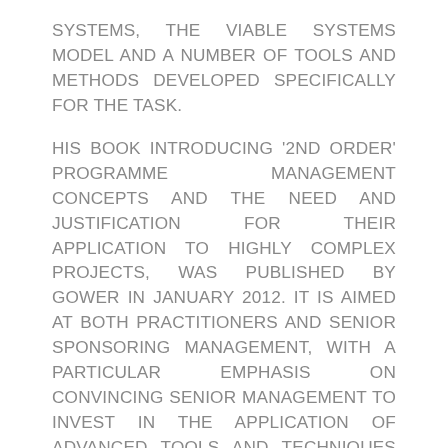SYSTEMS, THE VIABLE SYSTEMS MODEL AND A NUMBER OF TOOLS AND METHODS DEVELOPED SPECIFICALLY FOR THE TASK.
HIS BOOK INTRODUCING '2ND ORDER' PROGRAMME MANAGEMENT CONCEPTS AND THE NEED AND JUSTIFICATION FOR THEIR APPLICATION TO HIGHLY COMPLEX PROJECTS, WAS PUBLISHED BY GOWER IN JANUARY 2012. IT IS AIMED AT BOTH PRACTITIONERS AND SENIOR SPONSORING MANAGEMENT, WITH A PARTICULAR EMPHASIS ON CONVINCING SENIOR MANAGEMENT TO INVEST IN THE APPLICATION OF ADVANCED TOOLS AND TECHNIQUES TO DEAL WITH THE INEVITABLE UNCERTAINTIES OF HIGHLY COMPLEX PROJECTS. IT HAS ALREADY BEEN ADOPTED BY A LEADING US UNIVERSITY AS PART OF THEIR